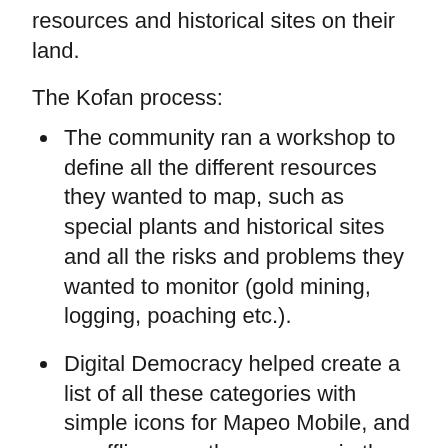resources and historical sites on their land.
The Kofan process:
The community ran a workshop to define all the different resources they wanted to map, such as special plants and historical sites and all the risks and problems they wanted to monitor (gold mining, logging, poaching etc.).
Digital Democracy helped create a list of all these categories with simple icons for Mapeo Mobile, and an offline map they can use in the field.
The team goes out on patrols: anything from a day on the river to a 10 day trek to the